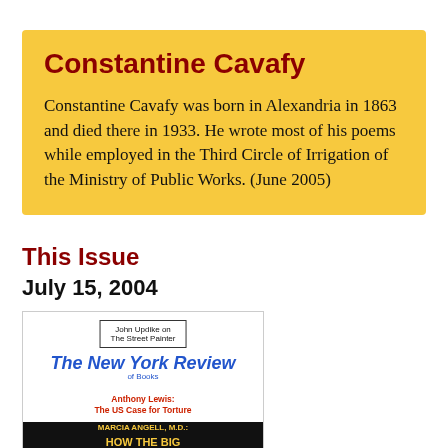Constantine Cavafy
Constantine Cavafy was born in Alexandria in 1863 and died there in 1933. He wrote most of his poems while employed in the Third Circle of Irrigation of the Ministry of Public Works. (June 2005)
This Issue
July 15, 2004
[Figure (photo): Magazine cover of The New York Review of Books, July 15, 2004, featuring John Updike on The Street Painter, Anthony Lewis: The US Case for Torture, and Marcia Angell M.D.: How the Big Drug Companies Deceive Us]